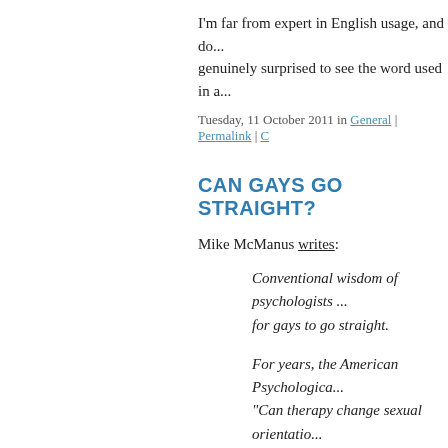I'm far from expert in English usage, and do... genuinely surprised to see the word used in a...
Tuesday, 11 October 2011 in General | Permalink | C...
CAN GAYS GO STRAIGHT?
Mike McManus writes:
Conventional wisdom of psychologists ... for gays to go straight.
For years, the American Psychological... "Can therapy change sexual orientatio... (H)omosexuality...does not require trea... changeable."
The American Psychiatric Association ... therapy' are great, including depressio...
However, two psychologists - Stanton D... an article for the peer-reviewed "Journ... that some homosexuals can in fact, bec...